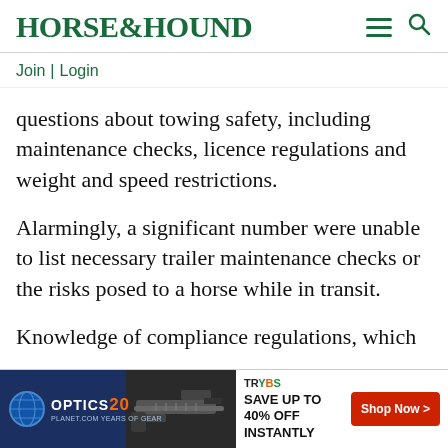HORSE&HOUND
Join | Login
questions about towing safety, including maintenance checks, licence regulations and weight and speed restrictions.
Alarmingly, a significant number were unable to list necessary trailer maintenance checks or the risks posed to a horse while in transit.
Knowledge of compliance regulations, which
[Figure (other): Advertisement banner: Optics Planet 20 Years of Gear — Save up to 40% off instantly, Shop Now button. Shows image of a rifle/gun.]